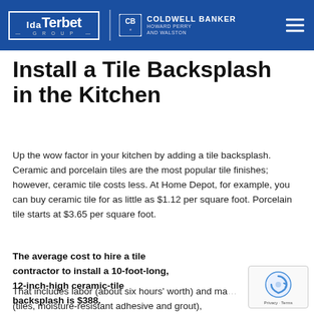Ida Terbet Group — Coldwell Banker Howard Perry and Walston
Install a Tile Backsplash in the Kitchen
Up the wow factor in your kitchen by adding a tile backsplash. Ceramic and porcelain tiles are the most popular tile finishes; however, ceramic tile costs less. At Home Depot, for example, you can buy ceramic tile for as little as $1.12 per square foot. Porcelain tile starts at $3.65 per square foot.
The average cost to hire a tile contractor to install a 10-foot-long, 12-inch-high ceramic-tile backsplash is $388. That includes labor (about six hours' worth) and materials (tiles, moisture-resistant adhesive and grout), according to